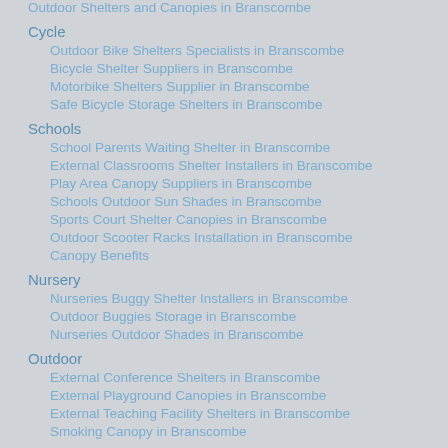Outdoor Shelters and Canopies in Branscombe
Cycle
Outdoor Bike Shelters Specialists in Branscombe
Bicycle Shelter Suppliers in Branscombe
Motorbike Shelters Supplier in Branscombe
Safe Bicycle Storage Shelters in Branscombe
Schools
School Parents Waiting Shelter in Branscombe
External Classrooms Shelter Installers in Branscombe
Play Area Canopy Suppliers in Branscombe
Schools Outdoor Sun Shades in Branscombe
Sports Court Shelter Canopies in Branscombe
Outdoor Scooter Racks Installation in Branscombe
Canopy Benefits
Nursery
Nurseries Buggy Shelter Installers in Branscombe
Outdoor Buggies Storage in Branscombe
Nurseries Outdoor Shades in Branscombe
Outdoor
External Conference Shelters in Branscombe
External Playground Canopies in Branscombe
External Teaching Facility Shelters in Branscombe
Smoking Canopy in Branscombe